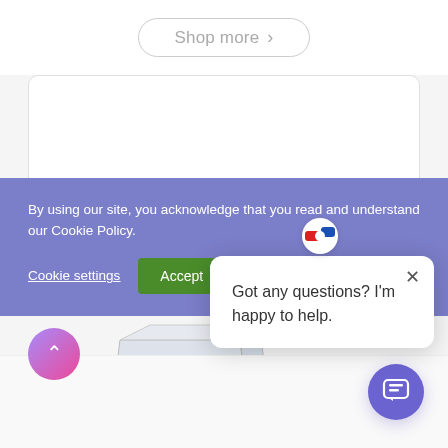Shop more →
By using our site, you acknowledge that you read and understand our Cookie Policy.
Cookie settings
Accept
Got any questions? I'm happy to help.